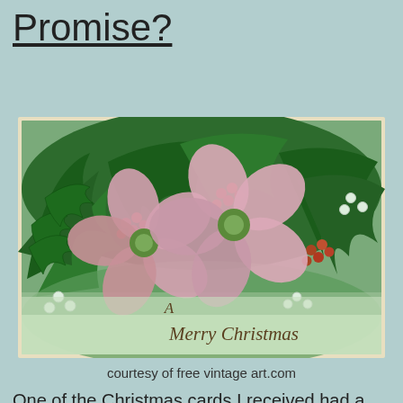Promise?
[Figure (illustration): Vintage Christmas postcard illustration featuring pink hellebore flowers with red berries and dark green holly leaves arranged on a light green background. Text reads 'A Merry Christmas' in an ornate script at the bottom center.]
courtesy of free vintage art.com
One of the Christmas cards I received had a